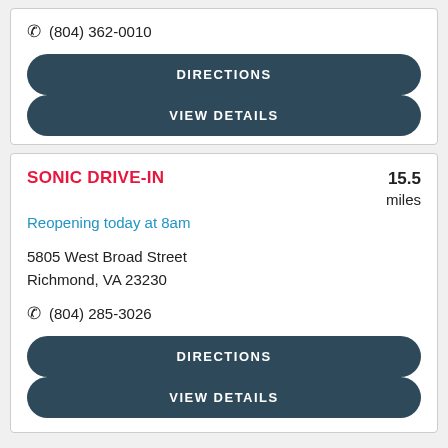(804) 362-0010
DIRECTIONS
VIEW DETAILS
SONIC DRIVE-IN
Reopening today at 8am
15.5 miles
5805 West Broad Street
Richmond, VA 23230
(804) 285-3026
DIRECTIONS
VIEW DETAILS